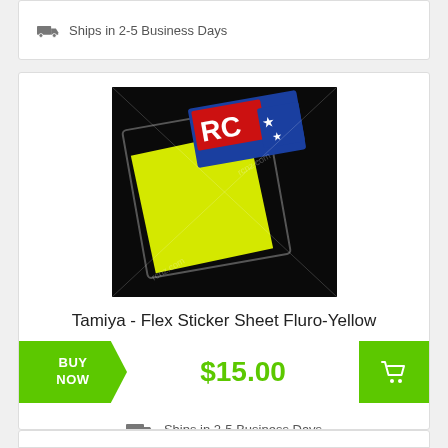Ships in 2-5 Business Days
[Figure (photo): Tamiya RC Flex Sticker Sheet Fluro-Yellow product in packaging on dark background, with rcnz.com watermark]
Tamiya - Flex Sticker Sheet Fluro-Yellow
BUY NOW  $15.00
Ships in 2-5 Business Days